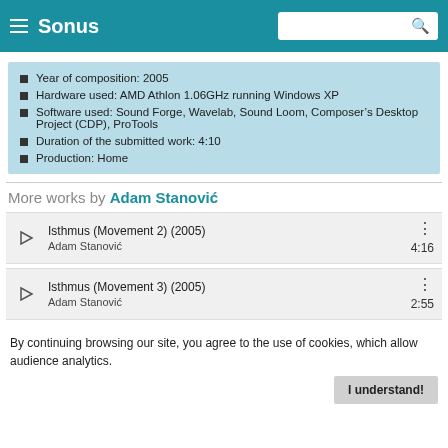Sonus
Year of composition: 2005
Hardware used: AMD Athlon 1.06GHz running Windows XP
Software used: Sound Forge, Wavelab, Sound Loom, Composer’s Desktop Project (CDP), ProTools
Duration of the submitted work: 4:10
Production: Home
More works by Adam Stanović
Isthmus (Movement 2) (2005)
Adam Stanović
4:16
Isthmus (Movement 3) (2005)
Adam Stanović
2:55
By continuing browsing our site, you agree to the use of cookies, which allow audience analytics.